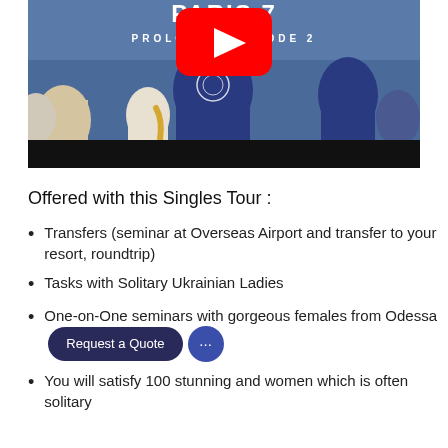[Figure (screenshot): YouTube video thumbnail showing BJJ/martial arts training session with people in gi uniforms on a blue mat. Title text reads 'PARIS 7 PROLOGUE EPISODE 2'. Red YouTube play button icon visible in center.]
Offered with this Singles Tour :
Transfers (seminar at Overseas Airport and transfer to your resort, roundtrip)
Tasks with Solitary Ukrainian Ladies
One-on-One seminars with gorgeous females from Odessa
You will satisfy 100 stunning and women which is often solitary